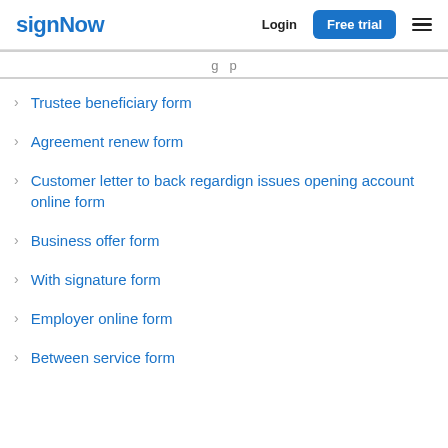signNow | Login | Free trial
Trustee beneficiary form
Agreement renew form
Customer letter to back regardign issues opening account online form
Business offer form
With signature form
Employer online form
Between service form